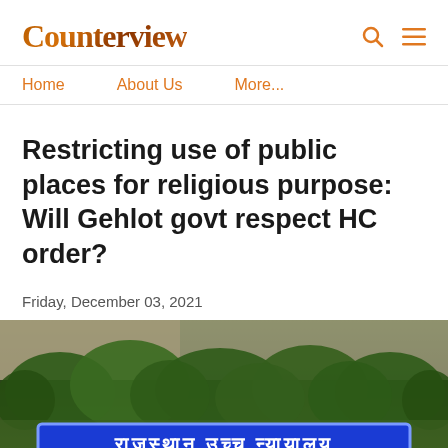Counterview
Home    About Us    More...
Restricting use of public places for religious purpose: Will Gehlot govt respect HC order?
Friday, December 03, 2021
[Figure (photo): Blue sign board reading 'राजस्थान उच्च न्यायालय' (Rajasthan High Court) with trees and building in background]